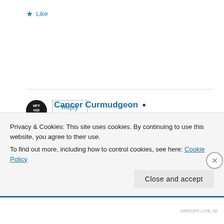★ Like
Reply
Cancer Curmudgeon
March 1, 2015 at 3:39 pm
Thank YOU for reading and commenting. Given that I've only been once around, I was concerned how those such as yourself, who've had multiple
Privacy & Cookies: This site uses cookies. By continuing to use this website, you agree to their use.
To find out more, including how to control cookies, see here: Cookie Policy
Close and accept